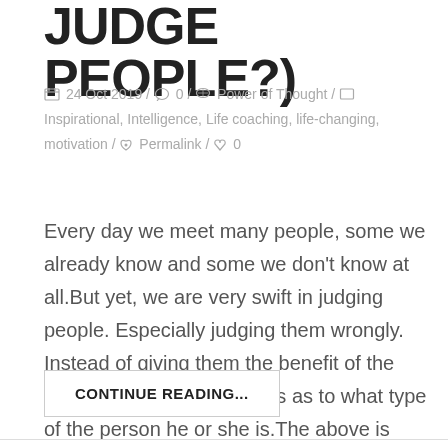JUDGE PEOPLE?)
24 Oct 2019 / 0 / Power of Thought / Inspirational, Intelligence, Life coaching, life-changing, motivation / Permalink / 0
Every day we meet many people, some we already know and some we don't know at all.But yet, we are very swift in judging people. Especially judging them wrongly. Instead of giving them the benefit of the doubt, we decide ourselves as to what type of the person he or she is.The above is one ...
CONTINUE READING...